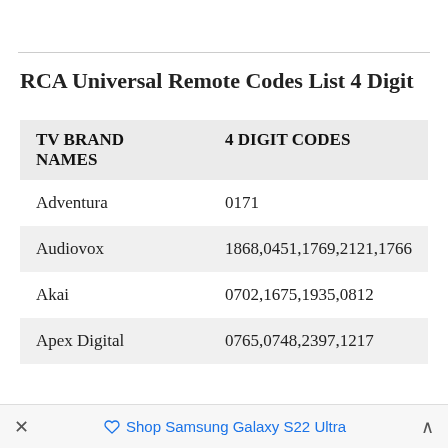RCA Universal Remote Codes List 4 Digit
| TV BRAND NAMES | 4 DIGIT CODES |
| --- | --- |
| Adventura | 0171 |
| Audiovox | 1868,0451,1769,2121,1766 |
| Akai | 0702,1675,1935,0812 |
| Apex Digital | 0765,0748,2397,1217 |
× Shop Samsung Galaxy S22 Ultra ^